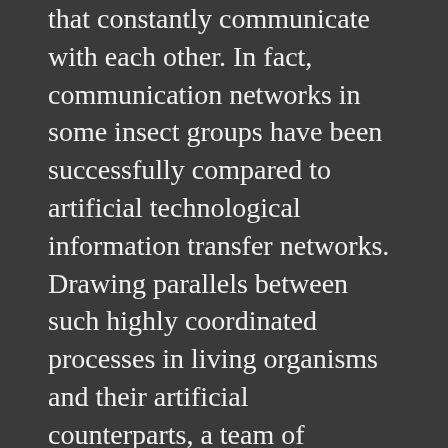that constantly communicate with each other. In fact, communication networks in some insect groups have been successfully compared to artificial technological information transfer networks. Drawing parallels between such highly coordinated processes in living organisms and their artificial counterparts, a team of scientists from IISc, IISER-Kolkatta and BITS-Pilani, seek a better understanding of network communication, to improve the existing information processing networks.
The survival of living organisms depend on the well-coordinated processes at different levels – the cellular and genetic levels, for example. Group living animals take coordination to a different level — schools of fish and flocks of birds rely on competent communication by every individual to all other members, at every point in time. Efficient transfer of information between members